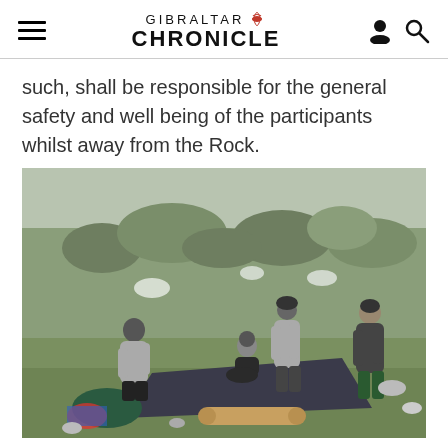Gibraltar Chronicle
such, shall be responsible for the general safety and well being of the participants whilst away from the Rock.
[Figure (photo): Four people on a rocky hillside with scrubby vegetation. One person crouches over a dark tarpaulin/groundsheet on the grass, another stands nearby in a grey hoodie and dark hat, a third stands to the right in dark jacket and dark trousers, and a fourth person in a grey hoodie stands to the far left. Camping gear including a rolled sleeping mat and bags are visible on the ground.]